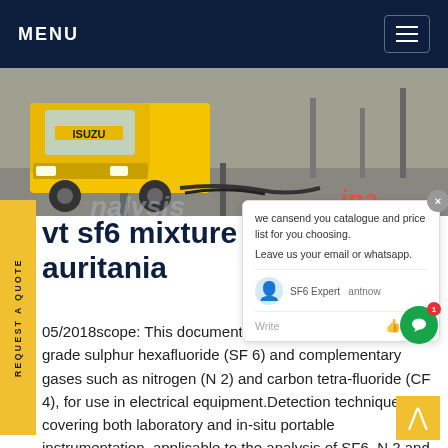MENU
[Figure (photo): Yellow Isuzu truck on a road/industrial site, photographed from the front, with hose equipment visible.]
wt sf6 mixture Analysis in Mauritania
05/2018scope: This document defines the quality technical grade sulphur hexafluoride (SF 6) and complementary gases such as nitrogen (N 2) and carbon tetra-fluoride (CF 4), for use in electrical equipment.Detection techniques, covering both laboratory and in-situ portable instrumentation, applicable to the analysis of SF6, N 2 and CF 4 gases